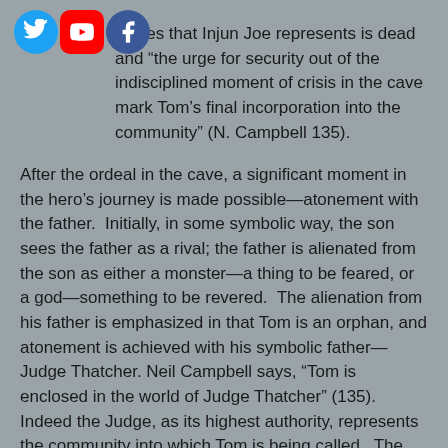values that Injun Joe represents is dead and “the urge for security out of the indisciplined moment of crisis in the cave mark Tom’s final incorporation into the community” (N. Campbell 135).
After the ordeal in the cave, a significant moment in the hero’s journey is made possible—atonement with the father. Initially, in some symbolic way, the son sees the father as a rival; the father is alienated from the son as either a monster—a thing to be feared, or a god—something to be revered. The alienation from his father is emphasized in that Tom is an orphan, and atonement is achieved with his symbolic father—Judge Thatcher. Neil Campbell says, “Tom is enclosed in the world of Judge Thatcher” (135). Indeed the Judge, as its highest authority, represents the community into which Tom is being called. The relationship between Tom and Judge Thatcher is one of alienation. The Judge inspires awe when he visits the Sunday School—he was “altogether